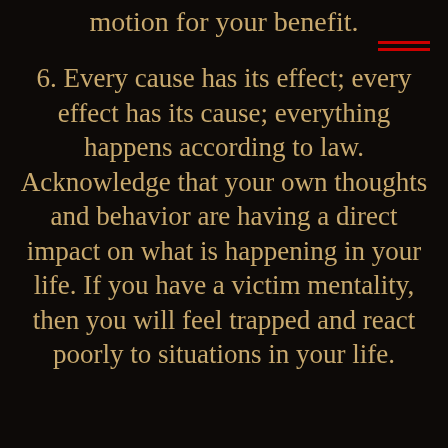motion for your benefit.
6. Every cause has its effect; every effect has its cause; everything happens according to law. Acknowledge that your own thoughts and behavior are having a direct impact on what is happening in your life. If you have a victim mentality, then you will feel trapped and react poorly to situations in your life. Instead find Empowerment and